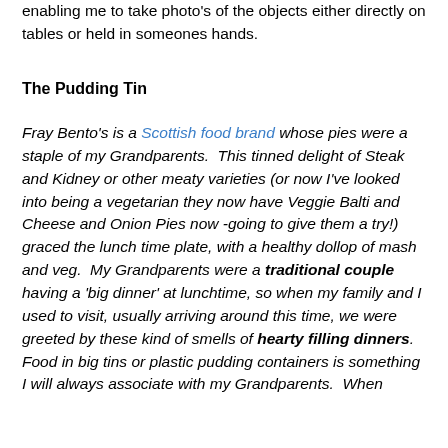enabling me to take photo's of the objects either directly on tables or held in someones hands.
The Pudding Tin
Fray Bento's is a Scottish food brand whose pies were a staple of my Grandparents.  This tinned delight of Steak and Kidney or other meaty varieties (or now I've looked into being a vegetarian they now have Veggie Balti and Cheese and Onion Pies now -going to give them a try!) graced the lunch time plate, with a healthy dollop of mash and veg.  My Grandparents were a traditional couple having a 'big dinner' at lunchtime, so when my family and I used to visit, usually arriving around this time, we were greeted by these kind of smells of hearty filling dinners.  Food in big tins or plastic pudding containers is something I will always associate with my Grandparents.  When